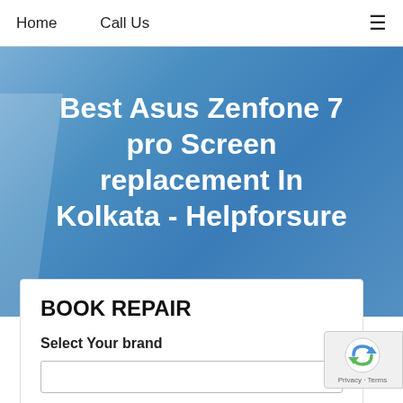Home   Call Us   ≡
Best Asus Zenfone 7 pro Screen replacement In Kolkata - Helpforsure
BOOK REPAIR
Select Your brand
Select your Issues